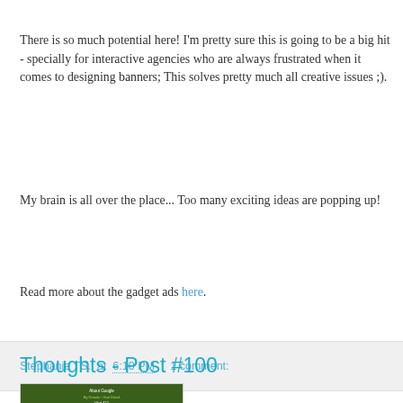There is so much potential here! I'm pretty sure this is going to be a big hit - specially for interactive agencies who are always frustrated when it comes to designing banners; This solves pretty much all creative issues ;).
My brain is all over the place... Too many exciting ideas are popping up!
Read more about the gadget ads here.
Stephanie TS.  at  6:10 PM     1 comment:
Thoughts - Post #100
[Figure (screenshot): Screenshot of a website analytics tool showing visit details including domain name, IP address, ISP, location (North America, United States, California, Oakland), and language (English).]